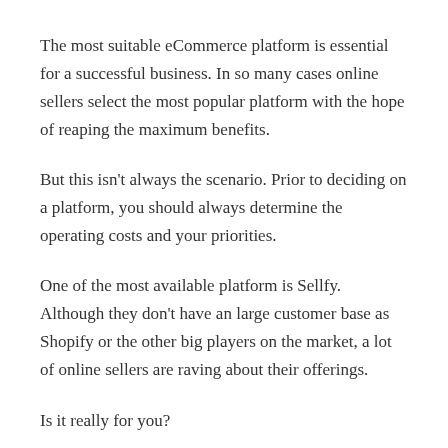The most suitable eCommerce platform is essential for a successful business. In so many cases online sellers select the most popular platform with the hope of reaping the maximum benefits.
But this isn't always the scenario. Prior to deciding on a platform, you should always determine the operating costs and your priorities.
One of the most available platform is Sellfy. Although they don't have an large customer base as Shopify or the other big players on the market, a lot of online sellers are raving about their offerings.
Is it really for you?
This review will examine the services that Sellfy can offer its clients. For you to make an informed decision, we'll also check